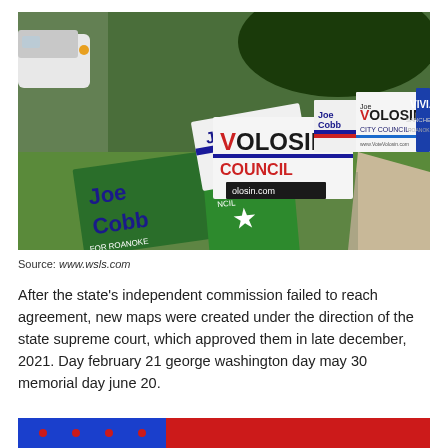[Figure (photo): Outdoor scene showing multiple campaign yard signs for Joe Cobb, Joe Volosin City Council, and Vivian Sanchez-Jones planted on a grassy lawn near a sidewalk and driveway.]
Source: www.wsls.com
After the state's independent commission failed to reach agreement, new maps were created under the direction of the state supreme court, which approved them in late december, 2021. Day february 21 george washington day may 30 memorial day june 20.
[Figure (other): Partial bottom banner with red background and blue section containing red dots.]